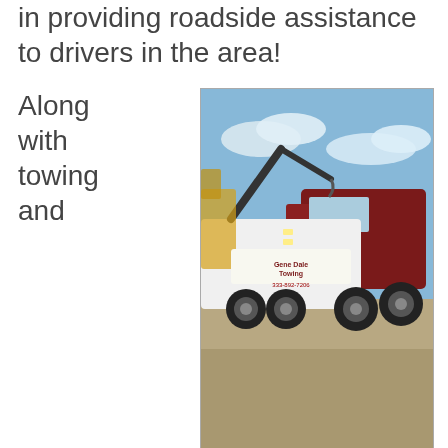in providing roadside assistance to drivers in the area!
Along with towing and
[Figure (photo): A large white and red heavy-duty tow truck (wrecker) parked on a gravel lot with a blue sky background. The truck has company branding and a phone number on the side.]
roadside assistance, we are also able to provide recovery service. All of our services are executed by our team in a professional manner. Not only this, but we also take pride in being able to provide everyone affordable service. We understand that having car troubles is